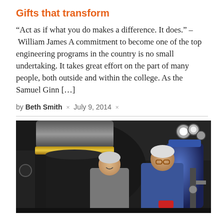Gifts that transform
“Act as if what you do makes a difference. It does.” –  William James A commitment to become one of the top engineering programs in the country is no small undertaking. It takes great effort on the part of many people, both outside and within the college. As the Samuel Ginn […]
by Beth Smith × July 9, 2014 ×
[Figure (photo): Two elderly men standing in front of large industrial engineering equipment including a dark cylindrical machine, gauges, and a blue tank.]